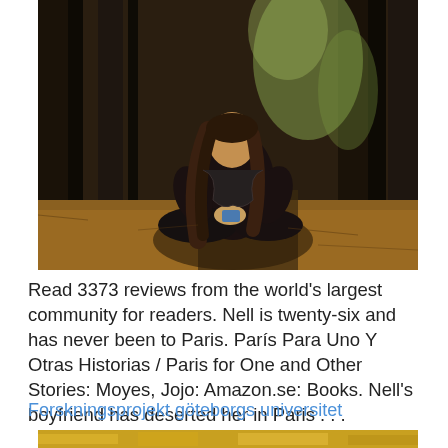[Figure (photo): Person with long hair sitting cross-legged on the forest floor, examining something in their hands. Surrounded by tall trees with dappled sunlight.]
Read 3373 reviews from the world's largest community for readers. Nell is twenty-six and has never been to Paris. París Para Uno Y Otras Historias / Paris for One and Other Stories: Moyes, Jojo: Amazon.se: Books. Nell's boyfriend has deserted her in Paris . . .
Forskningsprojekt göteborgs universitet
[Figure (photo): Partial view of a second photo at the bottom of the page, appears to show warm golden/orange tones.]